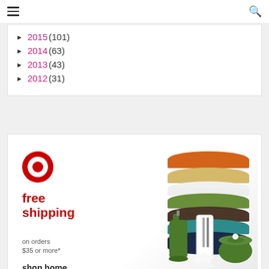Navigation header with hamburger menu and search icon
► 2015 (101)
► 2014 (63)
► 2013 (43)
► 2012 (31)
[Figure (illustration): Target advertisement banner: Target bullseye logo, 'free shipping on orders $35 or more*', 'shop home', restrictions may apply. Shows stacked folded towels in orange, yellow, white, green, brown, teal, navy colors, and green bathroom accessories (soap dispenser, cup, bowl with lid).]